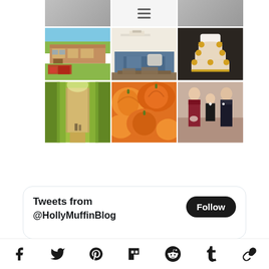[Figure (photo): Instagram-style photo grid showing 6 photos in 2 rows of 3: top row shows a house with vehicles outside, a living room with sofa, and a tiered wedding cake with sunflowers; bottom row shows a corn maze path, close-up of pumpkins, and a wedding party photo with three people. Above is a partial row of 3 cropped photos.]
[Figure (screenshot): Twitter widget showing 'Tweets from @HollyMuffinBlog' with a black Follow button]
[Figure (infographic): Social media icon bar at bottom with icons for Facebook, Twitter, Pinterest, Flipboard, Reddit, Tumblr, and a chain/link icon]